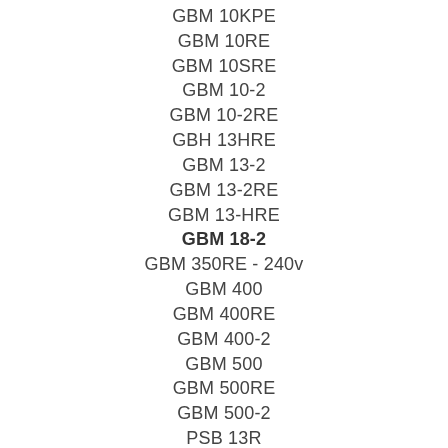GBM 10KPE
GBM 10RE
GBM 10SRE
GBM 10-2
GBM 10-2RE
GBH 13HRE
GBM 13-2
GBM 13-2RE
GBM 13-HRE
GBM 18-2
GBM 350RE - 240v
GBM 400
GBM 400RE
GBM 400-2
GBM 500
GBM 500RE
GBM 500-2
PSB 13R
PSB 350
PSB 380